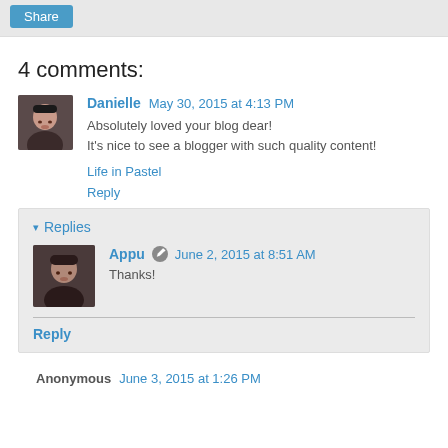4 comments:
Danielle May 30, 2015 at 4:13 PM
Absolutely loved your blog dear!
It's nice to see a blogger with such quality content!
Life in Pastel
Reply
▾ Replies
Appu June 2, 2015 at 8:51 AM
Thanks!
Reply
Anonymous June 3, 2015 at 1:26 PM